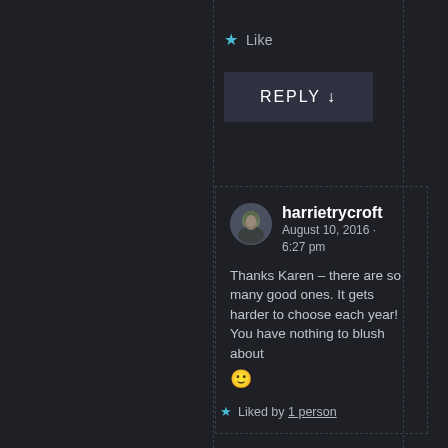★ Like
REPLY ↓
harrietrycroft
August 10, 2016 · 6:27 pm
Thanks Karen – there are so many good ones. It gets harder to choose each year! You have nothing to blush about 🙂
★ Liked by 1 person